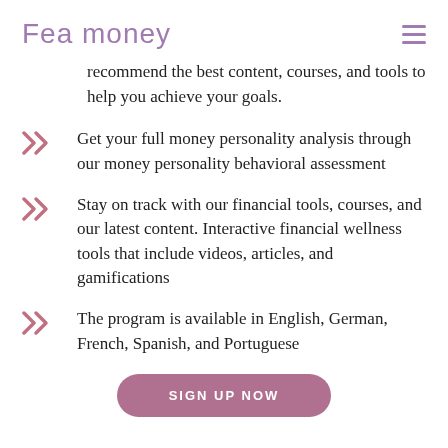Fea money
recommend the best content, courses, and tools to help you achieve your goals.
Get your full money personality analysis through our money personality behavioral assessment
Stay on track with our financial tools, courses, and our latest content. Interactive financial wellness tools that include videos, articles, and gamifications
The program is available in English, German, French, Spanish, and Portuguese